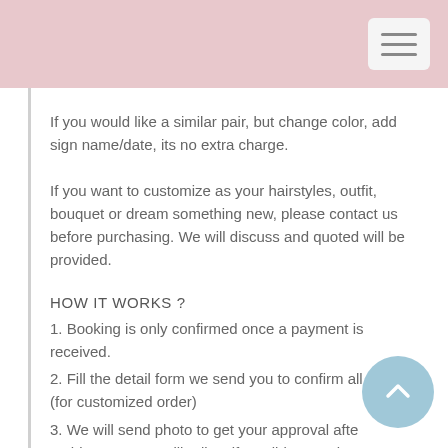If you would like a similar pair, but change color, add sign name/date, its no extra charge.
If you want to customize as your hairstyles, outfit, bouquet or dream something new, please contact us before purchasing. We will discuss and quoted will be provided.
HOW IT WORKS ?
1. Booking is only confirmed once a payment is received.
2. Fill the detail form we send you to confirm all details. (for customized order)
3. We will send photo to get your approval afte... In this stage, we will adjust if we did not make as your original requirement. It will be extra charge and few